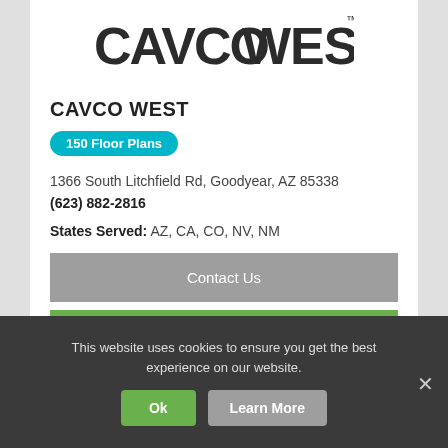[Figure (logo): CavcoWest logo — CAVCO in bold dark lettering followed by WEST in large bold letters with a TM mark]
CAVCO WEST
150 Floor Plans
1366 South Litchfield Rd, Goodyear, AZ 85338
(623) 882-2816
States Served: AZ, CA, CO, NV, NM
Contact Us
Shop Homes
This website uses cookies to ensure you get the best experience on our website.
Ok
Learn More